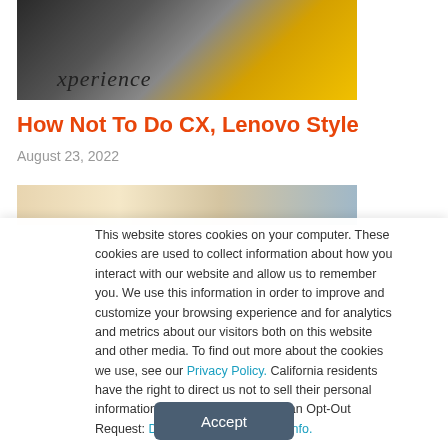[Figure (photo): Close-up photo of gears/puzzle pieces with text 'experience' and yellow/gold colored elements on dark background]
How Not To Do CX, Lenovo Style
August 23, 2022
[Figure (photo): Partial photo showing a person's face/upper body, cropped]
This website stores cookies on your computer. These cookies are used to collect information about how you interact with our website and allow us to remember you. We use this information in order to improve and customize your browsing experience and for analytics and metrics about our visitors both on this website and other media. To find out more about the cookies we use, see our Privacy Policy. California residents have the right to direct us not to sell their personal information to third parties by filing an Opt-Out Request: Do Not Sell My Personal Info.